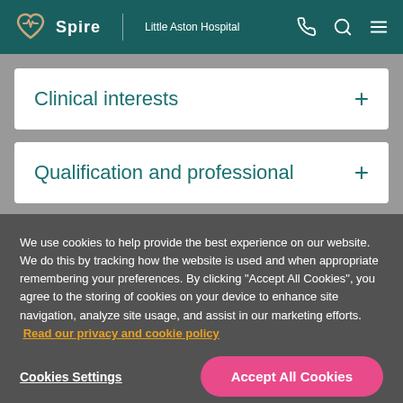Spire | Little Aston Hospital
Clinical interests +
Qualification and professional +
We use cookies to help provide the best experience on our website. We do this by tracking how the website is used and when appropriate remembering your preferences. By clicking "Accept All Cookies", you agree to the storing of cookies on your device to enhance site navigation, analyze site usage, and assist in our marketing efforts. Read our privacy and cookie policy
Cookies Settings
Accept All Cookies